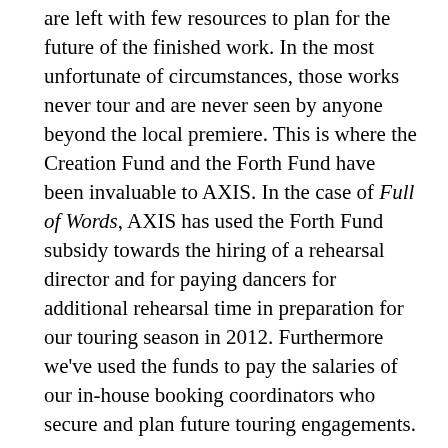are left with few resources to plan for the future of the finished work. In the most unfortunate of circumstances, those works never tour and are never seen by anyone beyond the local premiere. This is where the Creation Fund and the Forth Fund have been invaluable to AXIS. In the case of Full of Words, AXIS has used the Forth Fund subsidy towards the hiring of a rehearsal director and for paying dancers for additional rehearsal time in preparation for our touring season in 2012. Furthermore we've used the funds to pay the salaries of our in-house booking coordinators who secure and plan future touring engagements.
Tigertail intends their portion of the Forth Fund subsidy to go towards advancing advocacy of integrated dance, AXIS and Full of Words here in the U.S. and abroad, through inviting potential U.S. presenters to the premiere of the work at danceAble and to performances at other touring locations; as well as helping them to develop relationships with international dance presenters by